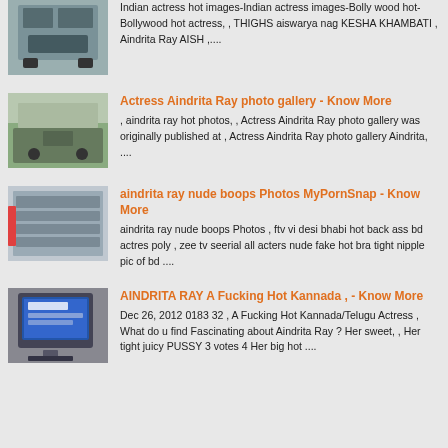[Figure (photo): Industrial machinery thumbnail, partially cropped at top]
Indian actress hot images-Indian actress images-Bolly wood hot-Bollywood hot actress, , THIGHS aiswarya nag KESHA KHAMBATI , Aindrita Ray AISH ,....
[Figure (photo): Industrial vehicle/truck thumbnail]
Actress Aindrita Ray photo gallery - Know More
, aindrita ray hot photos, , Actress Aindrita Ray photo gallery was originally published at , Actress Aindrita Ray photo gallery Aindrita, ....
[Figure (photo): Industrial shelving or rack system thumbnail]
aindrita ray nude boops Photos MyPornSnap - Know More
aindrita ray nude boops Photos , ftv vi desi bhabi hot back ass bd actres poly , zee tv seerial all acters nude fake hot bra tight nipple pic of bd ....
[Figure (photo): Electronic device with screen thumbnail]
AINDRITA RAY A Fucking Hot Kannada , - Know More
Dec 26, 2012 0183 32 , A Fucking Hot Kannada/Telugu Actress , What do u find Fascinating about Aindrita Ray ? Her sweet, , Her tight juicy PUSSY 3 votes 4 Her big hot ....